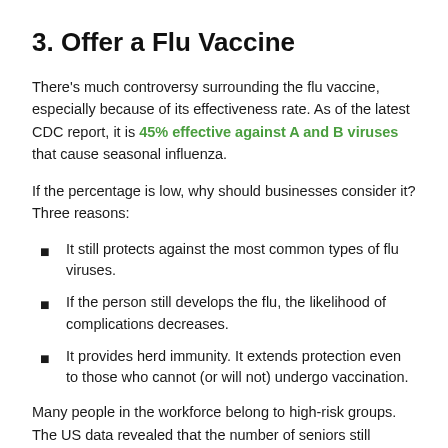3. Offer a Flu Vaccine
There's much controversy surrounding the flu vaccine, especially because of its effectiveness rate. As of the latest CDC report, it is 45% effective against A and B viruses that cause seasonal influenza.
If the percentage is low, why should businesses consider it? Three reasons:
It still protects against the most common types of flu viruses.
If the person still develops the flu, the likelihood of complications decreases.
It provides herd immunity. It extends protection even to those who cannot (or will not) undergo vaccination.
Many people in the workforce belong to high-risk groups. The US data revealed that the number of seniors still working